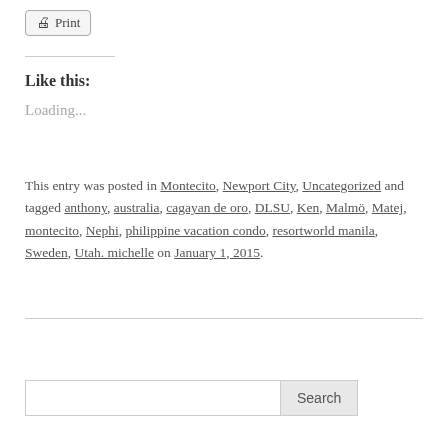Print
Like this:
Loading...
This entry was posted in Montecito, Newport City, Uncategorized and tagged anthony, australia, cagayan de oro, DLSU, Ken, Malmö, Matej, montecito, Nephi, philippine vacation condo, resortworld manila, Sweden, Utah. michelle on January 1, 2015.
Search